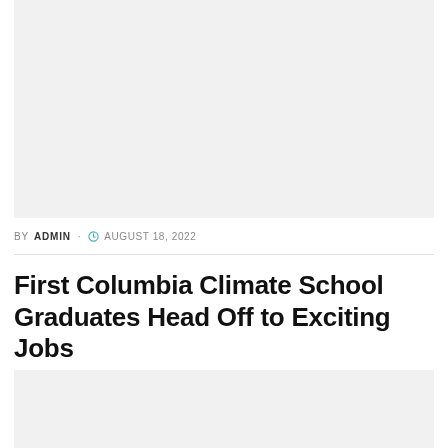[Figure (photo): Top image placeholder — light gray rectangular area at the top of the page]
BY ADMIN · AUGUST 18, 2022
First Columbia Climate School Graduates Head Off to Exciting Jobs
[Figure (photo): Bottom image placeholder — light gray rectangular area at the bottom of the page]